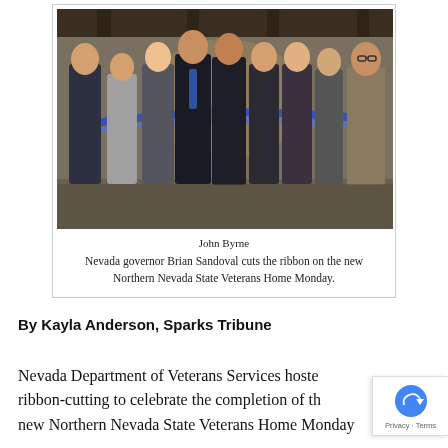[Figure (photo): Group of officials cutting a blue ribbon inside a stone-walled building. Nevada governor Brian Sandoval is among those participating in the ribbon-cutting ceremony for the Northern Nevada State Veterans Home.]
John Byrne
Nevada governor Brian Sandoval cuts the ribbon on the new Northern Nevada State Veterans Home Monday.
By Kayla Anderson, Sparks Tribune
Nevada Department of Veterans Services hoste ribbon-cutting to celebrate the completion of th new Northern Nevada State Veterans Home Monday